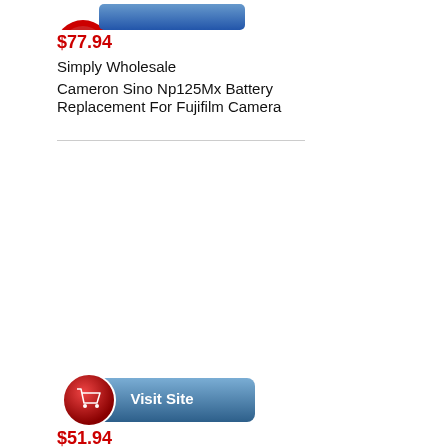[Figure (screenshot): Red and blue 'Add to Cart' button (partially visible at top)]
$77.94
Simply Wholesale
Cameron Sino Np125Mx Battery Replacement For Fujifilm Camera
[Figure (screenshot): Blue and red 'Visit Site' button with shopping cart icon]
$51.94